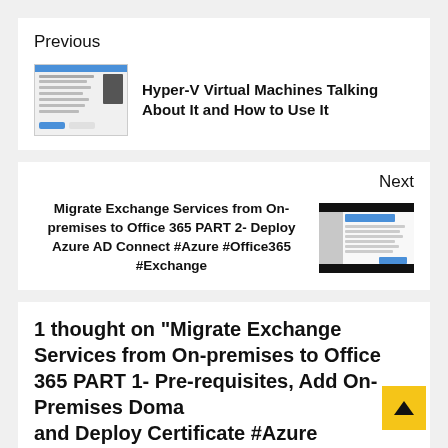Previous
[Figure (screenshot): Thumbnail screenshot of a Windows Hyper-V article page]
Hyper-V Virtual Machines Talking About It and How to Use It
Next
Migrate Exchange Services from On-premises to Office 365 PART 2- Deploy Azure AD Connect #Azure #Office365 #Exchange
[Figure (screenshot): Thumbnail screenshot of an Office 365 migration article page with dark header and sidebar]
1 thought on “Migrate Exchange Services from On-premises to Office 365 PART 1- Pre-requisites, Add On-Premises Domain and Deploy Certificate #Azure #Office365 #Exchange”